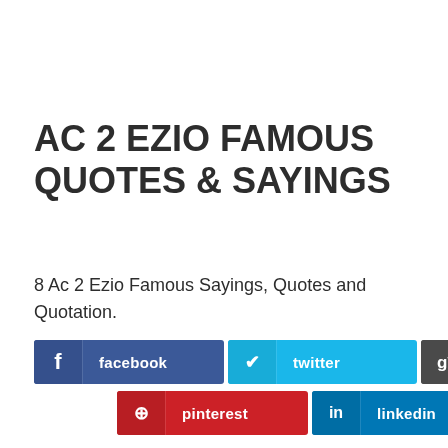AC 2 EZIO FAMOUS QUOTES & SAYINGS
8 Ac 2 Ezio Famous Sayings, Quotes and Quotation.
[Figure (infographic): Social media share buttons row 1: facebook, twitter, google]
[Figure (infographic): Social media share buttons row 2: pinterest, linkedin]